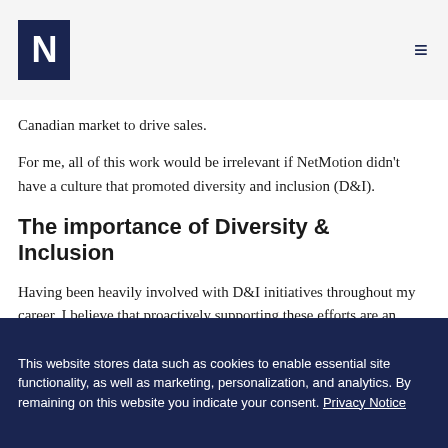N (NetMotion logo) | menu
Canadian market to drive sales.
For me, all of this work would be irrelevant if NetMotion didn't have a culture that promoted diversity and inclusion (D&I).
The importance of Diversity & Inclusion
Having been heavily involved with D&I initiatives throughout my career, I believe that proactively supporting these efforts are an incredibly important part of creating a diverse and inclusive work culture. But they also come with their own set of challenges.
On the one hand, organizations benefit by having more
This website stores data such as cookies to enable essential site functionality, as well as marketing, personalization, and analytics. By remaining on this website you indicate your consent. Privacy Notice